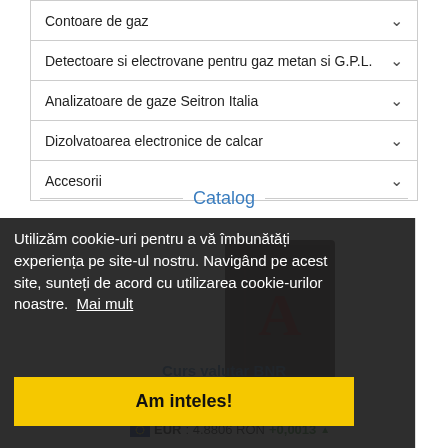Contoare de gaz
Detectoare si electrovane pentru gaz metan si G.P.L.
Analizatoare de gaze Seitron Italia
Dizolvatoarea electronice de calcar
Accesorii
Catalog
Utilizăm cookie-uri pentru a vă îmbunătăți experiența pe site-ul nostru. Navigând pe acest site, sunteți de acord cu utilizarea cookie-urilor noastre.  Mai mult
Am inteles!
Curs valutar BNR
Curs valutar 16 Aug 2022
EUR: 4.8806 RON  +0,0013 ▲